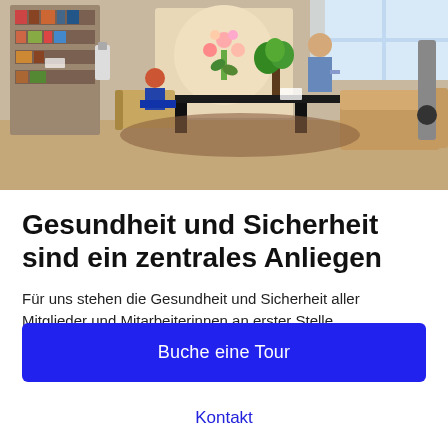[Figure (photo): Interior office/showroom scene with two people, bookshelves, a large table, chairs, sofa, and plants. A person sits in a chair while another stands near the table.]
Gesundheit und Sicherheit sind ein zentrales Anliegen
Für uns stehen die Gesundheit und Sicherheit aller Mitglieder und Mitarbeiterinnen an erster Stelle.
Buche eine Tour
Kontakt